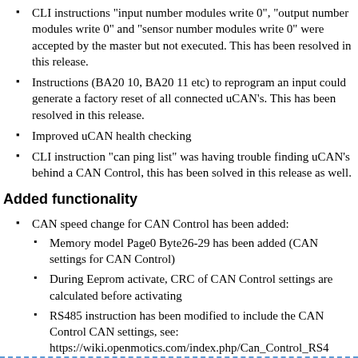CLI instructions "input number modules write 0", "output number modules write 0" and "sensor number modules write 0" were accepted by the master but not executed. This has been resolved in this release.
Instructions (BA20 10, BA20 11 etc) to reprogram an input could generate a factory reset of all connected uCAN's. This has been resolved in this release.
Improved uCAN health checking
CLI instruction "can ping list" was having trouble finding uCAN's behind a CAN Control, this has been solved in this release as well.
Added functionality
CAN speed change for CAN Control has been added:
Memory model Page0 Byte26-29 has been added (CAN settings for CAN Control)
During Eeprom activate, CRC of CAN Control settings are calculated before activating
RS485 instruction has been modified to include the CAN Control CAN settings, see: https://wiki.openmotics.com/index.php/Can_Control_RS4
CAN speed 250kbps has been added. This speed can be used by applying following instruction: